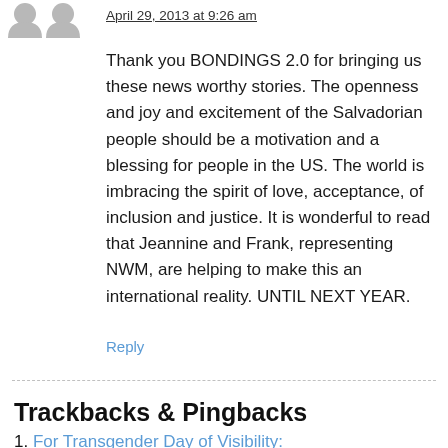April 29, 2013 at 9:26 am
Thank you BONDINGS 2.0 for bringing us these news worthy stories. The openness and joy and excitement of the Salvadorian people should be a motivation and a blessing for people in the US. The world is imbracing the spirit of love, acceptance, of inclusion and justice. It is wonderful to read that Jeannine and Frank, representing NWM, are helping to make this an international reality. UNTIL NEXT YEAR.
Reply
Trackbacks & Pingbacks
1. For Transgender Day of Visibility: